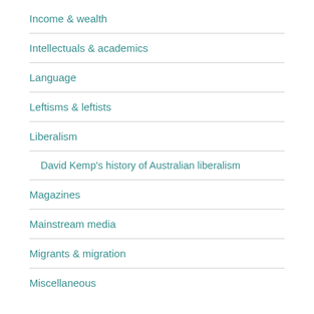Income & wealth
Intellectuals & academics
Language
Leftisms & leftists
Liberalism
David Kemp's history of Australian liberalism
Magazines
Mainstream media
Migrants & migration
Miscellaneous